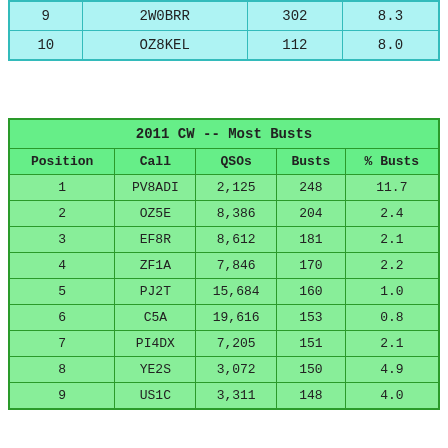| Position | Call | QSOs | % Busts |
| --- | --- | --- | --- |
| 9 | 2W0BRR | 302 | 8.3 |
| 10 | OZ8KEL | 112 | 8.0 |
| Position | Call | QSOs | Busts | % Busts |
| --- | --- | --- | --- | --- |
| 1 | PV8ADI | 2,125 | 248 | 11.7 |
| 2 | OZ5E | 8,386 | 204 | 2.4 |
| 3 | EF8R | 8,612 | 181 | 2.1 |
| 4 | ZF1A | 7,846 | 170 | 2.2 |
| 5 | PJ2T | 15,684 | 160 | 1.0 |
| 6 | C5A | 19,616 | 153 | 0.8 |
| 7 | PI4DX | 7,205 | 151 | 2.1 |
| 8 | YE2S | 3,072 | 150 | 4.9 |
| 9 | US1C | 3,311 | 148 | 4.0 |